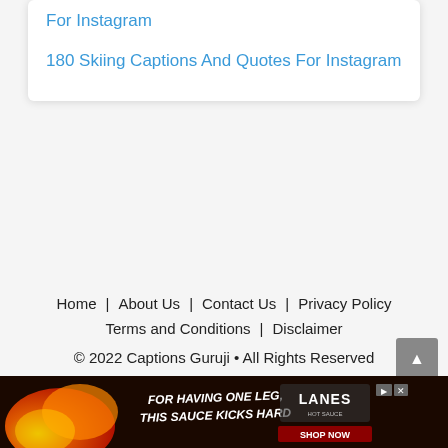For Instagram
180 Skiing Captions And Quotes For Instagram
Home   About Us   Contact Us   Privacy Policy   Terms and Conditions   Disclaimer   © 2022 Captions Guruji • All Rights Reserved
[Figure (screenshot): Advertisement banner: FOR HAVING ONE LEG, THIS SAUCE KICKS HARD — LANES hot sauce — SHOP NOW button]